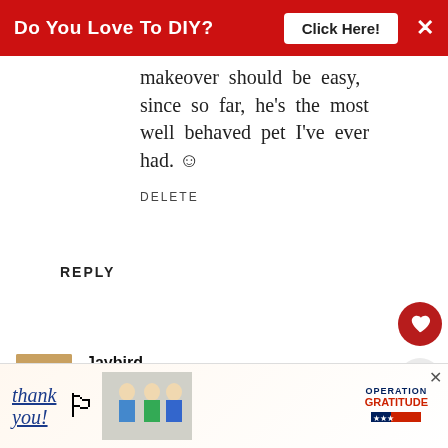Do You Love To DIY?  Click Here!  ×
makeover should be easy, since so far, he's the most well behaved pet I've ever had. ☺
DELETE
REPLY
Jaybird
OCTOBER 27, 2021 AT 2:15 PM
Great job and idea!!!! Yes is most often perched on either the kitchen or dining room table!!! There
[Figure (screenshot): What's Next panel showing DIY Halloween Ghost article thumbnail]
[Figure (photo): Bottom advertisement banner: Thank you with American flag pencil graphic, nurses photo, Operation Gratitude logo]